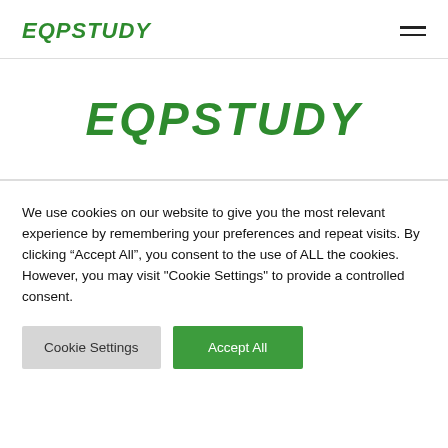EQPSTUDY
[Figure (logo): EQPSTUDY large green logo centered on page]
We use cookies on our website to give you the most relevant experience by remembering your preferences and repeat visits. By clicking “Accept All”, you consent to the use of ALL the cookies. However, you may visit "Cookie Settings" to provide a controlled consent.
Cookie Settings | Accept All